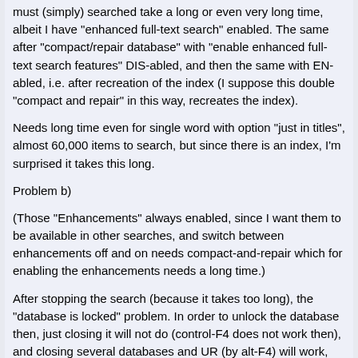must (simply) searched take a long or even very long time, albeit I have "enhanced full-text search" enabled. The same after "compact/repair database" with "enable enhanced full-text search features" DIS-abled, and then the same with EN-abled, i.e. after recreation of the index (I suppose this double "compact and repair" in this way, recreates the index).
Needs long time even for single word with option "just in titles", almost 60,000 items to search, but since there is an index, I'm surprised it takes this long.
Problem b)
(Those "Enhancements" always enabled, since I want them to be available in other searches, and switch between enhancements off and on needs compact-and-repair which for enabling the enhancements needs a long time.)
After stopping the search (because it takes too long), the "database is locked" problem. In order to unlock the database then, just closing it will not do (control-F4 does not work then), and closing several databases and UR (by alt-F4) will work, but then, UR will not open anymore (by clicking on the desktop symbol).
Just a complete Windows restart will help, since then, clicking on the desktop symbol will reopen UR (and the databases that were open), and they work as expected.
I suppose there will not be short-term solutions?